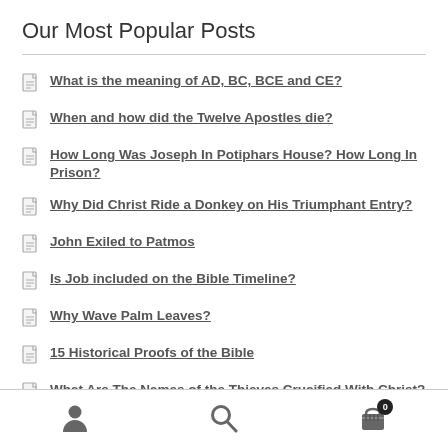Our Most Popular Posts
What is the meaning of AD, BC, BCE and CE?
When and how did the Twelve Apostles die?
How Long Was Joseph In Potiphars House? How Long In Prison?
Why Did Christ Ride a Donkey on His Triumphant Entry?
John Exiled to Patmos
Is Job included on the Bible Timeline?
Why Wave Palm Leaves?
15 Historical Proofs of the Bible
What Are The Names of the Thieves Crucified With Christ?